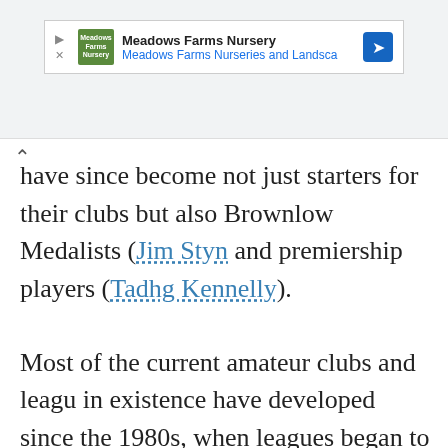[Figure (other): Advertisement banner for Meadows Farms Nursery with logo, text, and navigation arrow]
have since become not just starters for their clubs but also Brownlow Medalists (Jim Styn and premiership players (Tadhg Kennelly).
Most of the current amateur clubs and leagues in existence have developed since the 1980s, when leagues began to be established in North America, Europe and Asia. The sport developed a cult following in the United States when